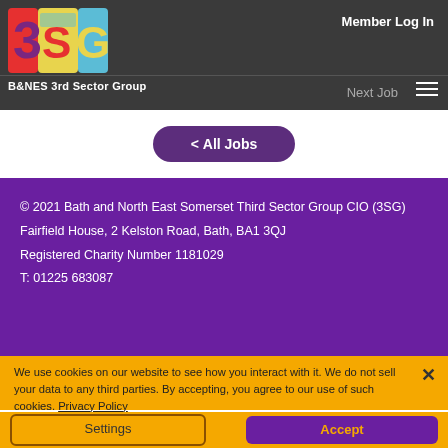Member Log In
[Figure (logo): 3SG - B&NES 3rd Sector Group colorful logo with number 3, S, G letters]
B&NES 3rd Sector Group
Next Job
< All Jobs
© 2021 Bath and North East Somerset Third Sector Group CIO (3SG)
Fairfield House, 2 Kelston Road, Bath, BA1 3QJ
Registered Charity Number 1181029
T: 01225 683087
We use cookies on our website to see how you interact with it. We do not sell your data to any third parties. By accepting, you agree to our use of such cookies. Privacy Policy
Settings
Accept